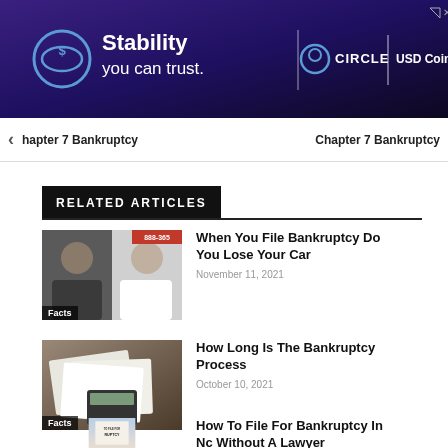[Figure (photo): Advertisement banner for Circle USD Coin: dark purple gradient background with 'Stability you can trust.' text and Circle/USDCoin logos]
Chapter 7 Bankruptcy  Chapter 7 Bankruptcy
RELATED ARTICLES
[Figure (photo): Two men in a TV interview setting with '888-365' overlay and red banner, labeled 'Facts']
When You File Bankruptcy Do You Lose Your Car
November 11, 2021
[Figure (photo): Person using calculator with financial documents, labeled 'Facts']
How Long Is The Bankruptcy Process
October 10, 2021
[Figure (photo): Document with 'TO FILE FOR BANKRUPTCY' text visible]
How To File For Bankruptcy In Nc Without A Lawyer